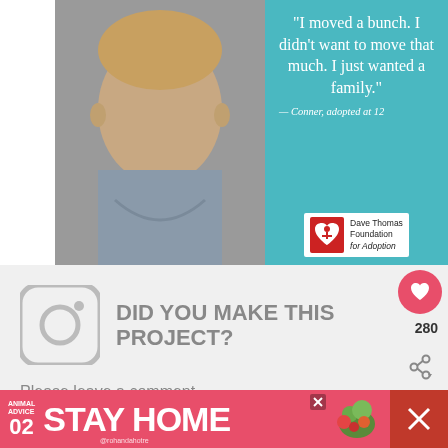[Figure (photo): Screenshot of a webpage showing a Dave Thomas Foundation for Adoption ad with a boy's photo and quote, alongside an Instagram call-to-action section, like/share buttons, a 'What's Next' widget for Crochet Egg, and a 'Stay Home' advertisement banner at the bottom.]
"I moved a bunch. I didn't want to move that much. I just wanted a family."
— Conner, adopted at 12
Dave Thomas Foundation for Adoption
DID YOU MAKE THIS PROJECT?
Please leave a comment or share a photo on Instagram.
280
WHAT'S NEXT → Crochet Egg - Free...
ANIMAL ADVICE 02 STAY HOME @rohandahotre